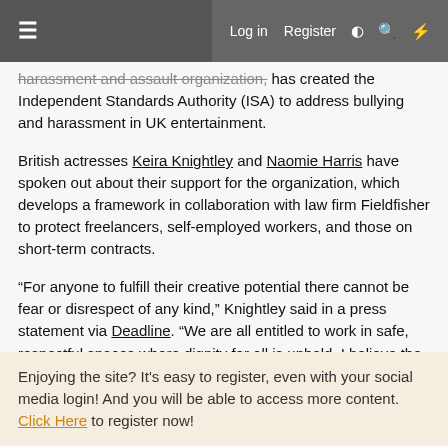Log in  Register
harassment and assault organization, has created the Independent Standards Authority (ISA) to address bullying and harassment in UK entertainment.

British actresses Keira Knightley and Naomie Harris have spoken out about their support for the organization, which develops a framework in collaboration with law firm Fieldfisher to protect freelancers, self-employed workers, and those on short-term contracts.

“For anyone to fulfill their creative potential there cannot be fear or disrespect of any kind,” Knightley said in a press statement via Deadline. “We are all entitled to work in safe, respectful spaces where dignity for all is upheld. I believe the ISA is an important step in helping to achieve this.”
Enjoying the site? It's easy to register, even with your social media login! And you will be able to access more content. Click Here to register now!